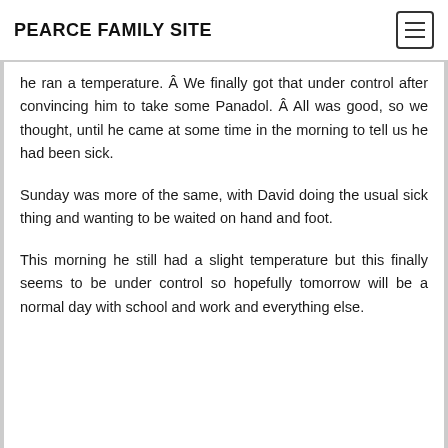PEARCE FAMILY SITE
he ran a temperature. Â We finally got that under control after convincing him to take some Panadol. Â All was good, so we thought, until he came at some time in the morning to tell us he had been sick.
Sunday was more of the same, with David doing the usual sick thing and wanting to be waited on hand and foot.
This morning he still had a slight temperature but this finally seems to be under control so hopefully tomorrow will be a normal day with school and work and everything else.